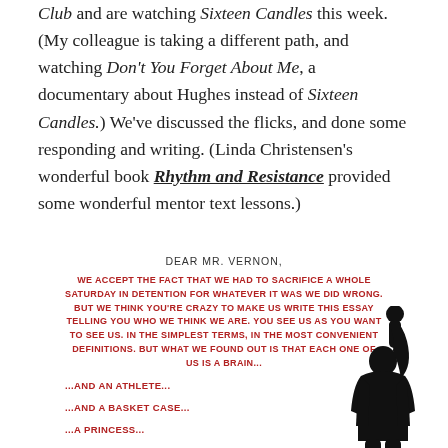Club and are watching Sixteen Candles this week. (My colleague is taking a different path, and watching Don't You Forget About Me, a documentary about Hughes instead of Sixteen Candles.) We've discussed the flicks, and done some responding and writing. (Linda Christensen's wonderful book Rhythm and Resistance provided some wonderful mentor text lessons.)
[Figure (illustration): Excerpt from The Breakfast Club letter to Mr. Vernon overlaid with a silhouette of a person raising their fist in the air, referencing the iconic movie poster. The letter text appears in red all-caps handwritten-style font.]